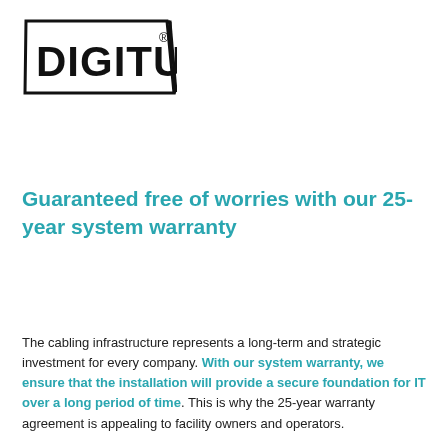[Figure (logo): DIGITUS brand logo with registered trademark symbol inside a parallelogram-shaped border]
Guaranteed free of worries with our 25-year system warranty
The cabling infrastructure represents a long-term and strategic investment for every company. With our system warranty, we ensure that the installation will provide a secure foundation for IT over a long period of time. This is why the 25-year warranty agreement is appealing to facility owners and operators.